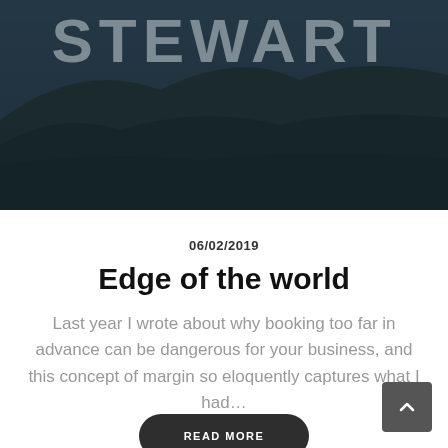[Figure (photo): Hero banner image showing a dark landscape with mountains/hills and the text STEWART overlaid in large semi-transparent letters]
STEWART
06/02/2019
Edge of the world
Last year I wrote about why booking too far in advance can be dangerous for your business, and this concept of margin so eloquently captures what I had…
READ MORE